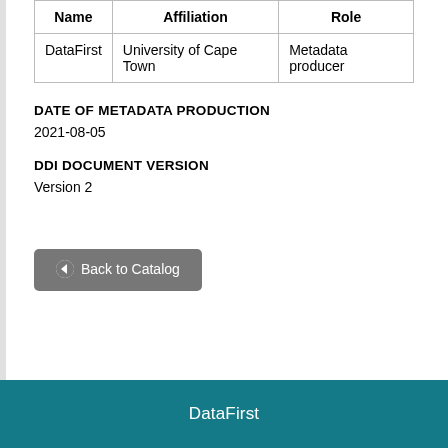| Name | Affiliation | Role |
| --- | --- | --- |
| DataFirst | University of Cape Town | Metadata producer |
DATE OF METADATA PRODUCTION
2021-08-05
DDI DOCUMENT VERSION
Version 2
Back to Catalog
DataFirst